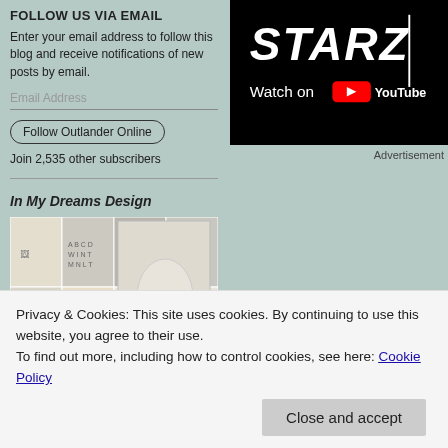FOLLOW US VIA EMAIL
Enter your email address to follow this blog and receive notifications of new posts by email.
Email Address
Follow Outlander Online
Join 2,535 other subscribers
In My Dreams Design
[Figure (photo): A collage photo grid showing various home decor and design items including framed art, handwriting exercises, tabletop vignettes, and decorative objects]
[Figure (screenshot): STARZ logo with 'Watch on YouTube' button on black background]
Advertisement
Privacy & Cookies: This site uses cookies. By continuing to use this website, you agree to their use.
To find out more, including how to control cookies, see here: Cookie Policy
Close and accept
Tagged with 2x05, Black Jack Randall, Caitri...